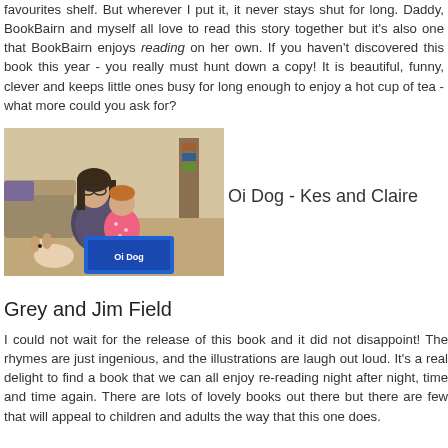favourites shelf. But wherever I put it, it never stays shut for long. Daddy, BookBairn and myself all love to read this story together but it's also one that BookBairn enjoys reading on her own. If you haven't discovered this book this year - you really must hunt down a copy! It is beautiful, funny, clever and keeps little ones busy for long enough to enjoy a hot cup of tea - what more could you ask for?
[Figure (photo): A woman with glasses sitting on the floor with a toddler in a pink polka dot dress, both reading a large blue book (Oi Dog). A stuffed dog toy is beside them.]
Oi Dog - Kes and Claire Grey and Jim Field
I could not wait for the release of this book and it did not disappoint! The rhymes are just ingenious, and the illustrations are laugh out loud. It's a real delight to find a book that we can all enjoy re-reading night after night, time and time again. There are lots of lovely books out there but there are few that will appeal to children and adults the way that this one does.